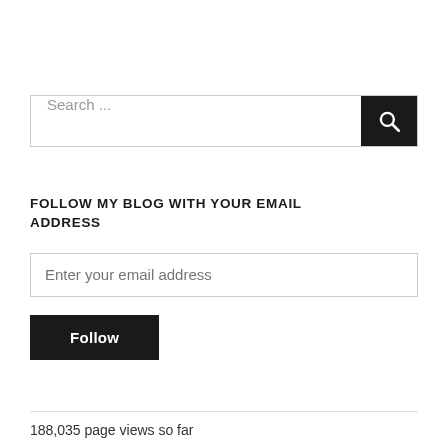[Figure (screenshot): Search input box with dark search button containing a magnifying glass icon]
FOLLOW MY BLOG WITH YOUR EMAIL ADDRESS
[Figure (screenshot): Email address input field with placeholder text 'Enter your email address']
[Figure (screenshot): Dark Follow button]
188,035 page views so far